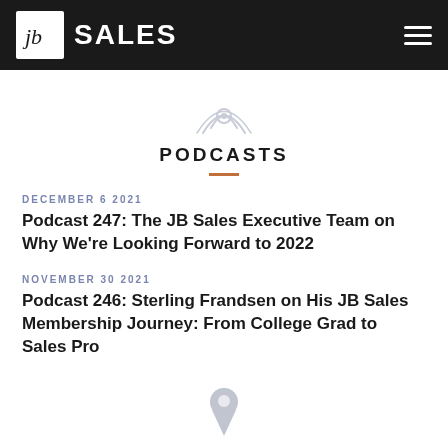JB SALES
[Figure (illustration): Podcast/radio wave icon in light gray]
PODCASTS
DECEMBER 6 2021 — Podcast 247: The JB Sales Executive Team on Why We're Looking Forward to 2022
NOVEMBER 30 2021 — Podcast 246: Sterling Frandsen on His JB Sales Membership Journey: From College Grad to Sales Pro
[Figure (illustration): Location pin / map marker icon in light gray at bottom of page]